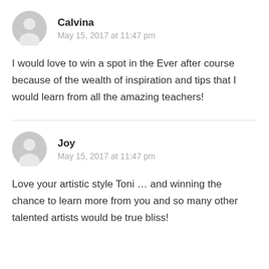[Figure (illustration): Gray user avatar icon — circular silhouette of a person]
Calvina
May 15, 2017 at 11:47 pm
I would love to win a spot in the Ever after course because of the wealth of inspiration and tips that I would learn from all the amazing teachers!
[Figure (illustration): Gray user avatar icon — circular silhouette of a person]
Joy
May 15, 2017 at 11:47 pm
Love your artistic style Toni … and winning the chance to learn more from you and so many other talented artists would be true bliss!